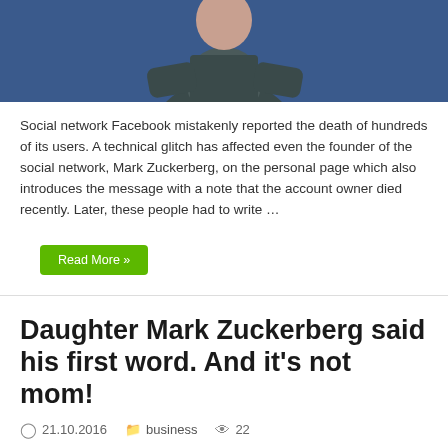[Figure (photo): Top portion of a photo showing a person in a dark grey/blue long-sleeve shirt against a blue background]
Social network Facebook mistakenly reported the death of hundreds of its users. A technical glitch has affected even the founder of the social network, Mark Zuckerberg, on the personal page which also introduces the message with a note that the account owner died recently. Later, these people had to write …
Read More »
Daughter Mark Zuckerberg said his first word. And it's not mom!
21.10.2016   business   22
[Figure (photo): Partial photo showing a baby or young child against a warm brownish background with some blue and yellow objects visible]